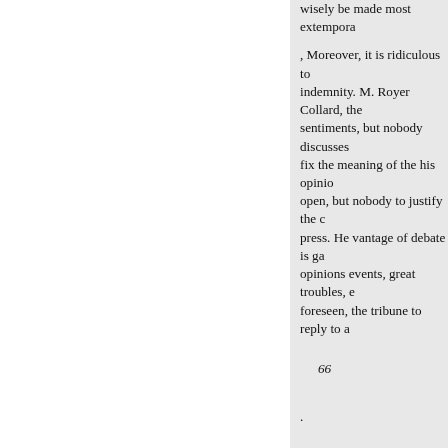wisely be made most extempora
, Moreover, it is ridiculous to indemnity. M. Royer Collard, the sentiments, but nobody discusses fix the meaning of the his opinio open, but nobody to justify the c press. He vantage of debate is ga opinions events, great troubles, e foreseen, the tribune to reply to a
66
.
from the mere abuse of the libert "chartered libertine," that the ce fair interpretation. A future, be e Chamber: but it came with sediti excite In the internal state of Fra been witnessed in England occup
currences arising from the confli measures than an unusual ligion